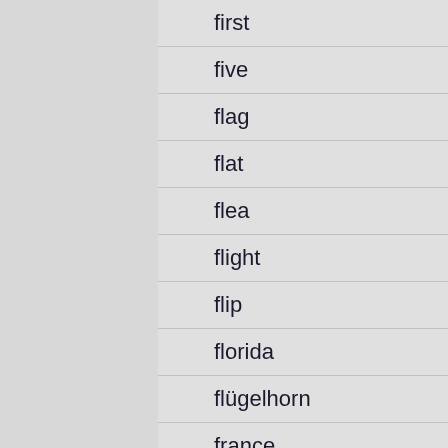first
five
flag
flat
flea
flight
flip
florida
flügelhorn
france
frank